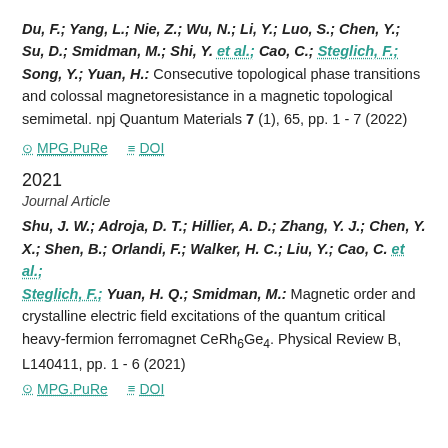Du, F.; Yang, L.; Nie, Z.; Wu, N.; Li, Y.; Luo, S.; Chen, Y.; Su, D.; Smidman, M.; Shi, Y. et al.; Cao, C.; Steglich, F.; Song, Y.; Yuan, H.: Consecutive topological phase transitions and colossal magnetoresistance in a magnetic topological semimetal. npj Quantum Materials 7 (1), 65, pp. 1 - 7 (2022)
MPG.PuRe   DOI
2021
Journal Article
Shu, J. W.; Adroja, D. T.; Hillier, A. D.; Zhang, Y. J.; Chen, Y. X.; Shen, B.; Orlandi, F.; Walker, H. C.; Liu, Y.; Cao, C. et al.; Steglich, F.; Yuan, H. Q.; Smidman, M.: Magnetic order and crystalline electric field excitations of the quantum critical heavy-fermion ferromagnet CeRh6Ge4. Physical Review B, L140411, pp. 1 - 6 (2021)
MPG.PuRe   DOI